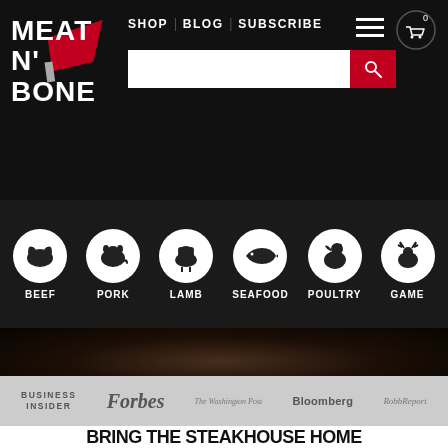[Figure (screenshot): Meat N' Bone website header with black background, logo, navigation links (SHOP, BLOG, SUBSCRIBE), search bar, hamburger menu, and cart icon]
[Figure (illustration): Category navigation bar with circular icons for BEEF, PORK, LAMB, SEAFOOD, POULTRY, GAME on dark background]
[Figure (photo): Dark close-up hero image of grilled meat/steak on wooden surface]
[Figure (infographic): Press/media logos bar: BUSINESS INSIDER, Forbes, The Washington Post, Bloomberg, Robb Report on light gray background]
BRING THE STEAKHOUSE HOME